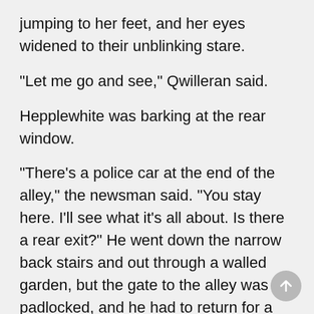jumping to her feet, and her eyes widened to their unblinking stare.
"Let me go and see," Qwilleran said.
Hepplewhite was barking at the rear window.
"There's a police car at the end of the alley," the newsman said. "You stay here. I'll see what it's all about. Is there a rear exit?" He went down the narrow back stairs and out through a walled garden, but the gate to the alley was padlocked, and he had to return for a key.
By the time he reached the scene, the morgue wagon had arrived, and the revolving roof lights on the two police